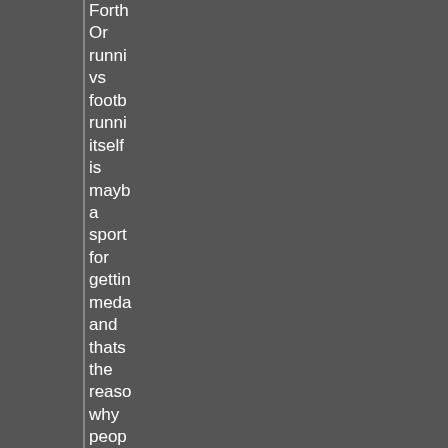Forth Or running vs football running itself is maybe a sport for getting medals and thats the reason why people do it comparing football includes running and has much more